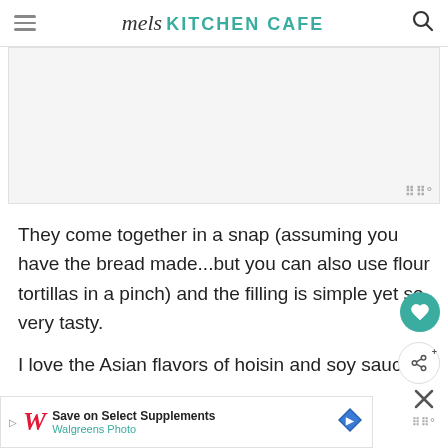mel's KITCHEN CAFE
[Figure (other): Large image placeholder area with watermark logo in bottom-right corner]
They come together in a snap (assuming you have the bread made...but you can also use flour tortillas in a pinch) and the filling is simple yet so very tasty.
I love the Asian flavors of hoisin and soy sauce a...
[Figure (other): Walgreens ad banner: Save on Select Supplements - Walgreens Photo]